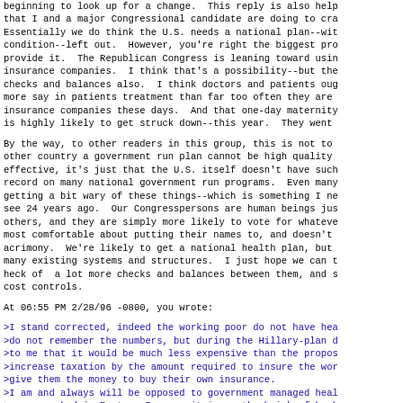beginning to look up for a change.  This reply is also help that I and a major Congressional candidate are doing to cra Essentially we do think the U.S. needs a national plan--wit condition--left out.  However, you're right the biggest pro provide it.  The Republican Congress is leaning toward usin insurance companies.  I think that's a possibility--but the checks and balances also.  I think doctors and patients oug more say in patients treatment than far too often they are insurance companies these days.  And that one-day maternity is highly likely to get struck down--this year.  They went
By the way, to other readers in this group, this is not to other country a government run plan cannot be high quality effective, it's just that the U.S. itself doesn't have such record on many national government run programs.  Even many getting a bit wary of these things--which is something I ne see 24 years ago.  Our Congresspersons are human beings jus others, and they are simply more likely to vote for whateve most comfortable about putting their names to, and doesn't acrimony.  We're likely to get a national health plan, but many existing systems and structures.  I just hope we can t heck of  a lot more checks and balances between them, and s cost controls.
At 06:55 PM 2/28/96 -0800, you wrote:
>I stand corrected, indeed the working poor do not have hea >do not remember the numbers, but during the Hillary-plan d >to me that it would be much less expensive than the propos >increase taxation by the amount required to insure the wor >give them the money to buy their own insurance. >I am and always will be opposed to government managed heal >never worked in Eastern Europe, it is on the brink of bank